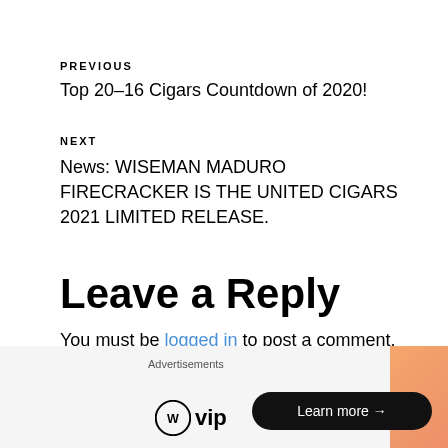PREVIOUS
Top 20–16 Cigars Countdown of 2020!
NEXT
News: WISEMAN MADURO FIRECRACKER IS THE UNITED CIGARS 2021 LIMITED RELEASE.
Leave a Reply
You must be logged in to post a comment.
Advertisements